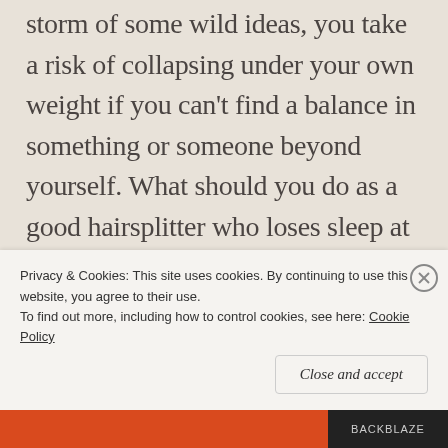storm of some wild ideas, you take a risk of collapsing under your own weight if you can't find a balance in something or someone beyond yourself. What should you do as a good hairsplitter who loses sleep at 2:00 am? Yes, that's right, nothing but hair splitting! So, here I am...
Being aware of yourself is a position that excels through the multitude of possibilities that
Privacy & Cookies: This site uses cookies. By continuing to use this website, you agree to their use.
To find out more, including how to control cookies, see here: Cookie Policy
Close and accept